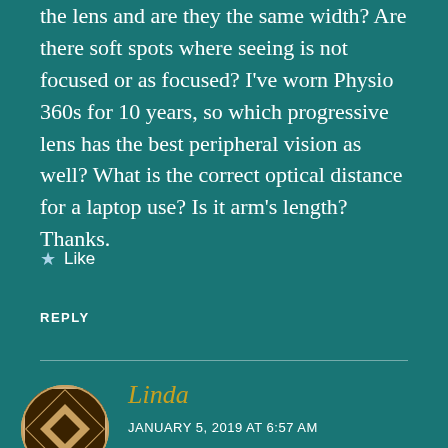the lens and are they the same width? Are there soft spots where seeing is not focused or as focused? I've worn Physio 360s for 10 years, so which progressive lens has the best peripheral vision as well? What is the correct optical distance for a laptop use? Is it arm's length? Thanks.
Like
REPLY
[Figure (illustration): Circular avatar with geometric quilt-like pattern in brown and white]
Linda
JANUARY 5, 2019 AT 6:57 AM
I am ready to get my first pair of